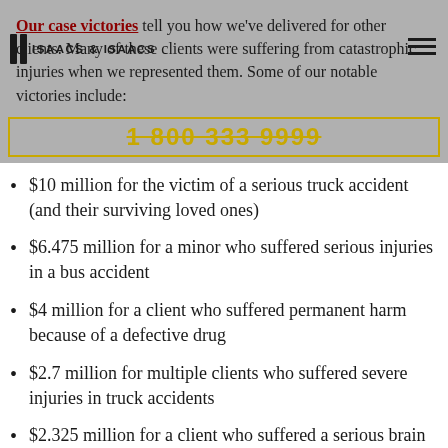Our case victories tell you how we've delivered for other clients. Many of these clients were suffering from catastrophic injuries when we represented them. Some of our notable victories include:
$10 million for the victim of a serious truck accident (and their surviving loved ones)
$6.475 million for a minor who suffered serious injuries in a bus accident
$4 million for a client who suffered permanent harm because of a defective drug
$2.7 million for multiple clients who suffered severe injuries in truck accidents
$2.325 million for a client who suffered a serious brain injury, and other injuries, during a bus accident